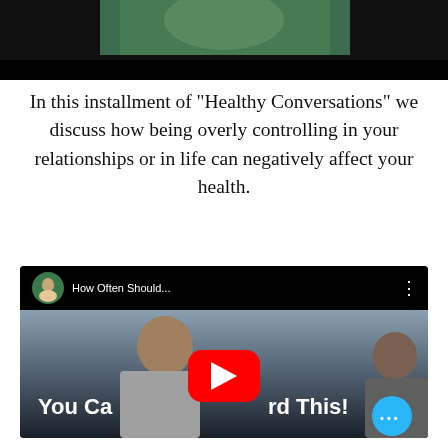[Figure (photo): Top cropped photo showing a person with arms crossed against a dark background]
In this installment of "Healthy Conversations" we discuss how being overly controlling in your relationships or in life can negatively affect your health.
[Figure (screenshot): YouTube video thumbnail showing 'How Often Should...' with two people visible and a play button overlay. Text reads 'You Ca...rd This!' with a YouTube play button in the center. A blue chat bubble with dots appears in the bottom right corner.]